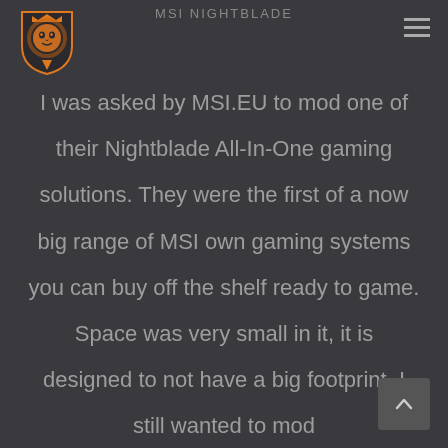MSI NIGHTBLADE
[Figure (logo): MSI orange lion head logo on dark background]
I was asked by MSI.EU to mod one of their Nightblade All-In-One gaming solutions. They were the first of a now big range of MSI own gaming systems you can buy off the shelf ready to game. Space was very small in it, it is designed to not have a big footprint. I still wanted to mod